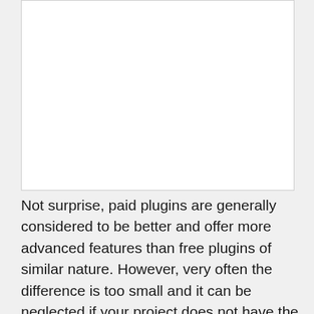[Figure (other): White rectangular box area at the top of the page]
Not surprise, paid plugins are generally considered to be better and offer more advanced features than free plugins of similar nature. However, very often the difference is too small and it can be neglected if your project does not have the goal to achieve the best possible results or needs paid functionality of the plugin.
Also, it's important to always test plugins